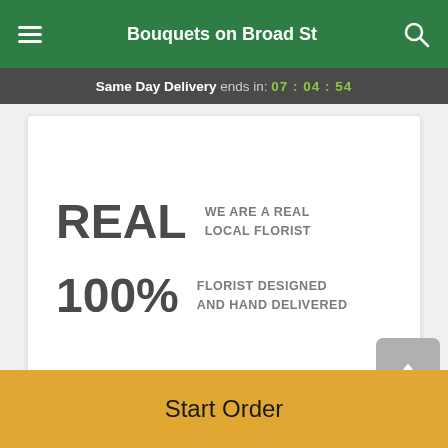Bouquets on Broad St
Same Day Delivery ends in: 07 : 04 : 54
[Figure (infographic): White card with two rows: 'REAL WE ARE A REAL LOCAL FLORIST' and '100% FLORIST DESIGNED AND HAND DELIVERED']
Description
Send love and comfort, while emulating the peaceful feelings of an afternoon stroll through the garden. This
Start Order